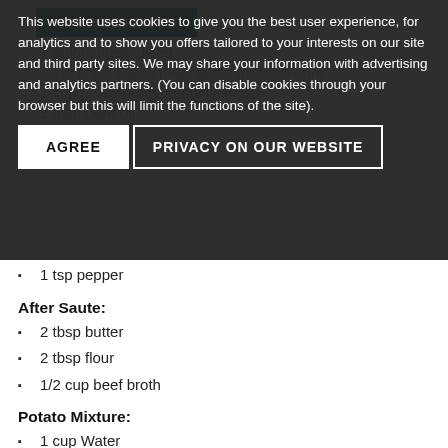INGREDIENTS
This website uses cookies to give you the best user experience, for analytics and to show you offers tailored to your interests on our site and third party sites. We may share your information with advertising and analytics partners. (You can disable cookies through your browser but this will limit the functions of the site).
1 tsp pepper
After Saute:
2 tbsp butter
2 tbsp flour
1/2 cup beef broth
Potato Mixture:
1 cup Water
1 1/2 lbs russet potatoes
peeled and cut into 1 inch cubes
2 tbsp butter